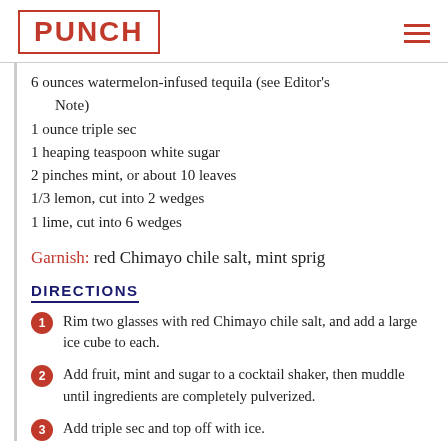PUNCH
6 ounces watermelon-infused tequila (see Editor's Note)
1 ounce triple sec
1 heaping teaspoon white sugar
2 pinches mint, or about 10 leaves
1/3 lemon, cut into 2 wedges
1 lime, cut into 6 wedges
Garnish: red Chimayo chile salt, mint sprig
DIRECTIONS
1 Rim two glasses with red Chimayo chile salt, and add a large ice cube to each.
2 Add fruit, mint and sugar to a cocktail shaker, then muddle until ingredients are completely pulverized.
3 Add triple sec and top off with ice.